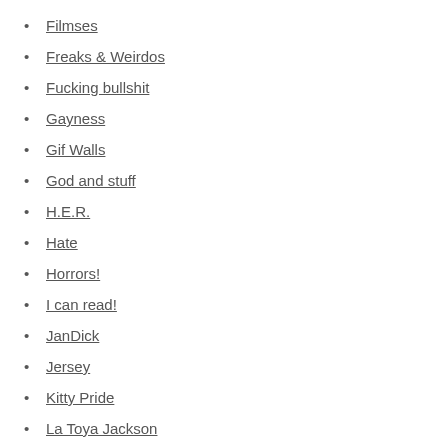Filmses
Freaks & Weirdos
Fucking bullshit
Gayness
Gif Walls
God and stuff
H.E.R.
Hate
Horrors!
I can read!
JanDick
Jersey
Kitty Pride
La Toya Jackson
Living Dolls
Mariah
Mixes
Music